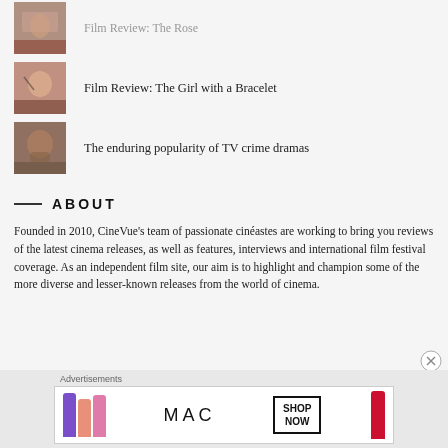Film Review: The Girl with a Bracelet
The enduring popularity of TV crime dramas
ABOUT
Founded in 2010, CineVue's team of passionate cinéastes are working to bring you reviews of the latest cinema releases, as well as features, interviews and international film festival coverage. As an independent film site, our aim is to highlight and champion some of the more diverse and lesser-known releases from the world of cinema.
Advertisements
[Figure (photo): MAC cosmetics advertisement banner showing lipsticks in purple, peach, and pink with MAC logo and SHOP NOW button]